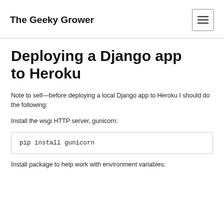The Geeky Grower
Deploying a Django app to Heroku
Note to self—before deploying a local Django app to Heroku I should do the following:
Install the wsgi HTTP server, gunicorn:
pip install gunicorn
Install package to help work with environment variables: